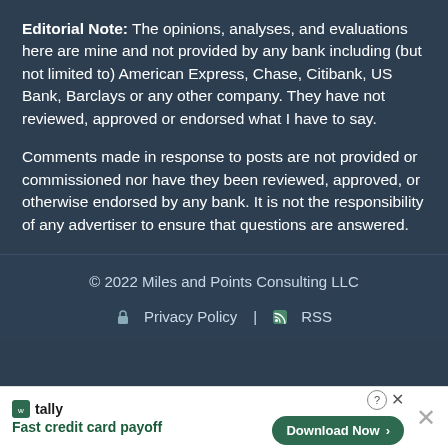Editorial Note: The opinions, analyses, and evaluations here are mine and not provided by any bank including (but not limited to) American Express, Chase, Citibank, US Bank, Barclays or any other company. They have not reviewed, approved or endorsed what I have to say.
Comments made in response to posts are not provided or commissioned nor have they been reviewed, approved, or otherwise endorsed by any bank. It is not the responsibility of any advertiser to ensure that questions are answered.
© 2022 Miles and Points Consulting LLC
Privacy Policy | RSS